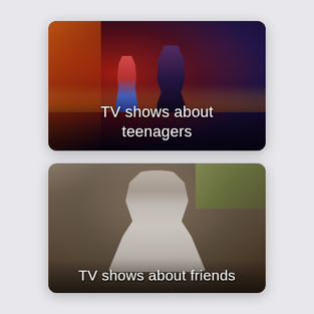[Figure (photo): Dark nighttime scene showing two figures on a rooftop with a city skyline in the background. Red and blue tones dominate. Text overlay reads 'TV shows about teenagers'.]
[Figure (photo): Indoor kitchen scene showing a teenage boy in a grey hoodie looking at the camera with a neutral expression. Text overlay reads 'TV shows about friends'.]